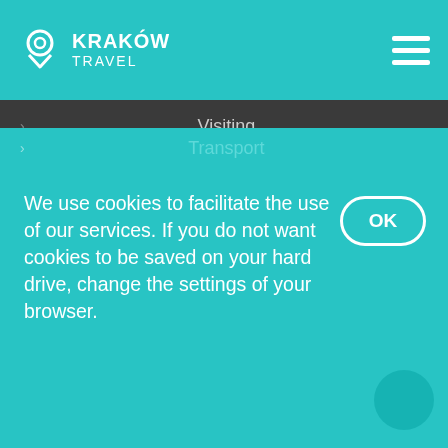KRAKÓW TRAVEL
Visiting
Culture
Museums
Recreation
Nature
Practical information
Where to sleep
Have a bite
InfoKraków
People with disabilities
Transport
We use cookies to facilitate the use of our services. If you do not want cookies to be saved on your hard drive, change the settings of your browser.